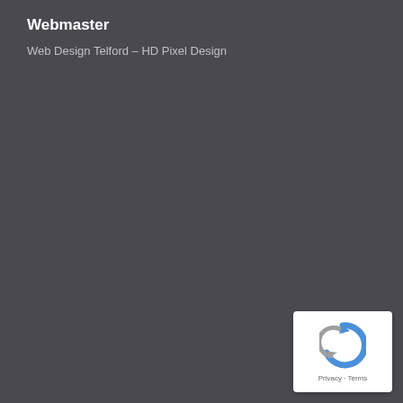Webmaster
Web Design Telford – HD Pixel Design
[Figure (logo): Google reCAPTCHA widget with circular arrow logo icon in blue/grey, and 'Privacy · Terms' text at the bottom on a white rounded rectangle background]